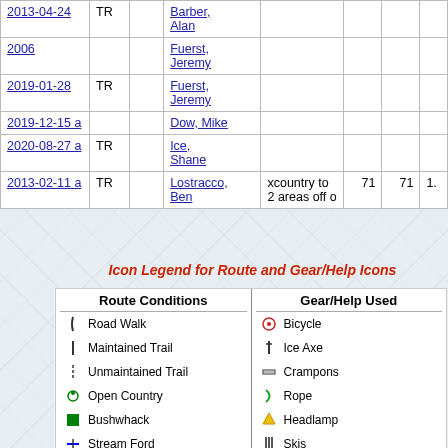| Date | Type |  | Name | Notes | N1 | N2 | N3 |
| --- | --- | --- | --- | --- | --- | --- | --- |
| 2013-04-24 | TR |  | Barber, Alan |  |  |  |  |
| 2006 |  |  | Fuerst, Jeremy |  |  |  |  |
| 2019-01-28 | TR |  | Fuerst, Jeremy |  |  |  |  |
| 2019-12-15 a |  |  | Dow, Mike |  |  |  |  |
| 2020-08-27 a | TR |  | Ice, Shane |  |  |  |  |
| 2013-02-11 a | TR |  | Lostracco, Ben | xcountry to 2 areas off o | 71 | 71 | 1. |
Icon Legend for Route and Gear/Help Icons
| Route Conditions | Gear/Help Used |
| --- | --- |
| Road Walk | Bicycle |
| Maintained Trail | Ice Axe |
| Unmaintained Trail | Crampons |
| Open Country | Rope |
| Bushwhack | Headlamp |
| Stream Ford | Skis |
| Mud/Swamp | Poles |
| Snow on Ground | Snowshoes |
| Scramble | Oxygen |
| Exposed Scramble | Guide |